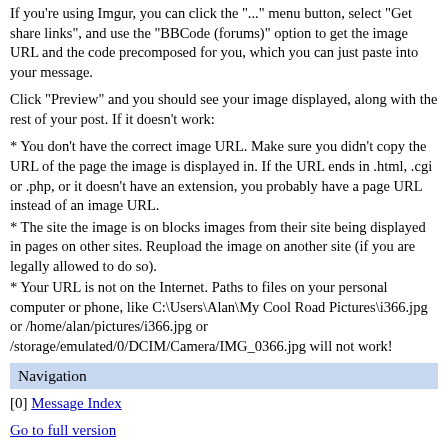If you're using Imgur, you can click the "..." menu button, select "Get share links", and use the "BBCode (forums)" option to get the image URL and the code precomposed for you, which you can just paste into your message.
Click "Preview" and you should see your image displayed, along with the rest of your post. If it doesn't work:
* You don't have the correct image URL. Make sure you didn't copy the URL of the page the image is displayed in. If the URL ends in .html, .cgi or .php, or it doesn't have an extension, you probably have a page URL instead of an image URL.
* The site the image is on blocks images from their site being displayed in pages on other sites. Reupload the image on another site (if you are legally allowed to do so).
* Your URL is not on the Internet. Paths to files on your personal computer or phone, like C:\Users\Alan\My Cool Road Pictures\i366.jpg or /home/alan/pictures/i366.jpg or /storage/emulated/0/DCIM/Camera/IMG_0366.jpg will not work!
Navigation
[0] Message Index
Go to full version